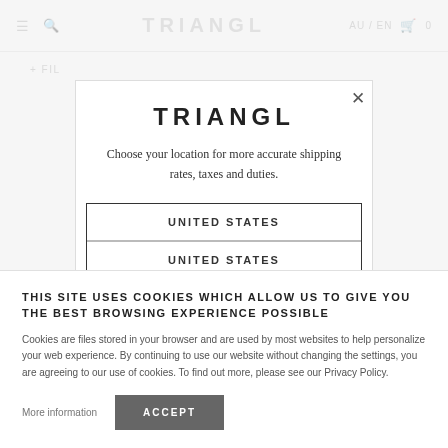TRIANGL  AU / EN  0
+ FIL
TRIANGL
Choose your location for more accurate shipping rates, taxes and duties.
UNITED STATES
UNITED STATES
AUSTRALIA
THIS SITE USES COOKIES WHICH ALLOW US TO GIVE YOU THE BEST BROWSING EXPERIENCE POSSIBLE
Cookies are files stored in your browser and are used by most websites to help personalize your web experience. By continuing to use our website without changing the settings, you are agreeing to our use of cookies. To find out more, please see our Privacy Policy.
More information
ACCEPT